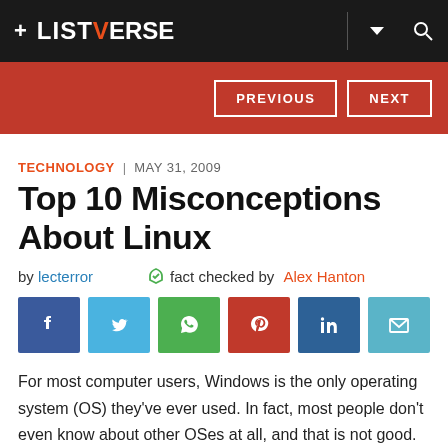+ LISTVERSE
PREVIOUS  NEXT
TECHNOLOGY | MAY 31, 2009
Top 10 Misconceptions About Linux
by lecterror   fact checked by Alex Hanton
[Figure (infographic): Social sharing buttons: Facebook, Twitter, WhatsApp, Pinterest, LinkedIn, Email]
For most computer users, Windows is the only operating system (OS) they've ever used. In fact, most people don't even know about other OSes at all, and that is not good. In our daily lives we always like to have a choice. Whether it's different flavors of ice-cream or different brands and